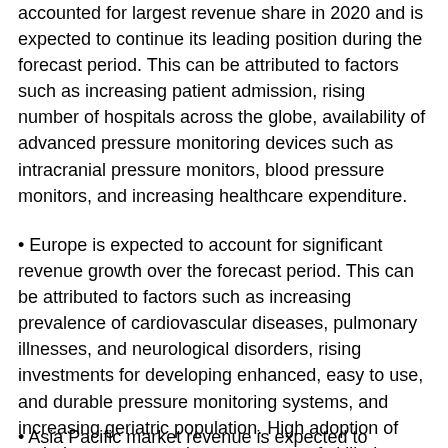accounted for largest revenue share in 2020 and is expected to continue its leading position during the forecast period. This can be attributed to factors such as increasing patient admission, rising number of hospitals across the globe, availability of advanced pressure monitoring devices such as intracranial pressure monitors, blood pressure monitors, and increasing healthcare expenditure.
• Europe is expected to account for significant revenue growth over the forecast period. This can be attributed to factors such as increasing prevalence of cardiovascular diseases, pulmonary illnesses, and neurological disorders, rising investments for developing enhanced, easy to use, and durable pressure monitoring systems, and increasing geriatric population. High adoption of ambulatory care services, presence of skilled healthcare professionals, and availability of various pressure monitoring systems are other factors fueling global market growth in Europe.
• Asia Pacific market revenue is expected to expand at rapid